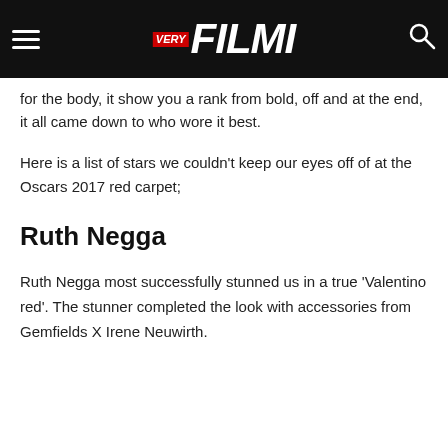VERY FILMI
for the body, it show you a rank from bold, off and at the end, it all came down to who wore it best.
Here is a list of stars we couldn't keep our eyes off of at the Oscars 2017 red carpet;
Ruth Negga
Ruth Negga most successfully stunned us in a true 'Valentino red'. The stunner completed the look with accessories from Gemfields X Irene Neuwirth.